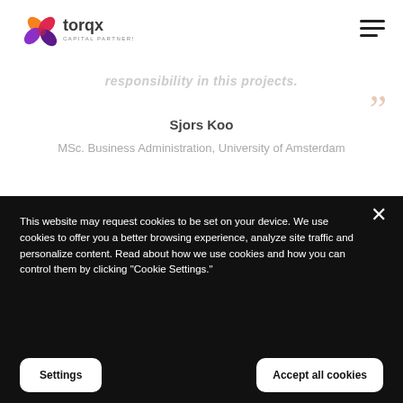[Figure (logo): Torqx Capital Partners logo with colorful flower/star icon and text]
responsibility in this projects.
Sjors Koo
MSc. Business Administration, University of Amsterdam
This website may request cookies to be set on your device. We use cookies to offer you a better browsing experience, analyze site traffic and personalize content. Read about how we use cookies and how you can control them by clicking "Cookie Settings."
Settings
Accept all cookies